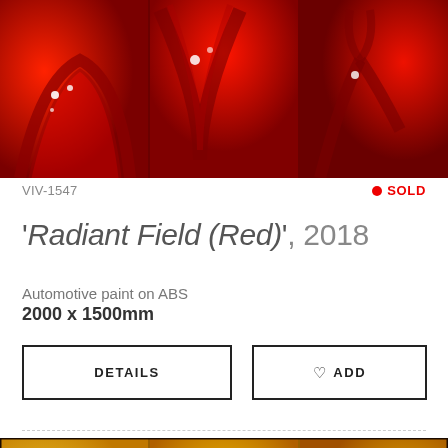[Figure (photo): Three-panel red automotive paint on ABS artwork showing glossy red sculptural forms with light reflections]
VIV-1547
● SOLD
'Radiant Field (Red)', 2018
Automotive paint on ABS
2000 x 1500mm
DETAILS
♡ ADD
[Figure (photo): Three-panel yellow/amber automotive paint on ABS artwork showing glossy yellow sculptural forms with dark outlines]